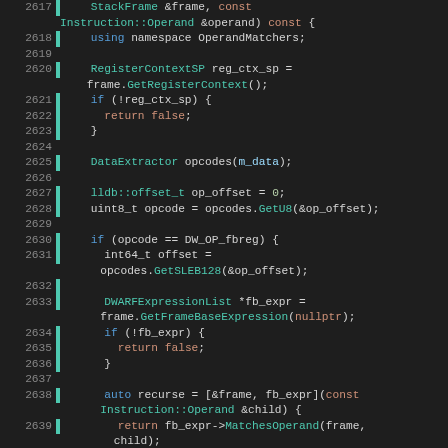[Figure (screenshot): Source code viewer showing C++ code lines 2617-2643, syntax highlighted on dark background. Code is from LLDB debugger source implementing MatchesOperand function dealing with DWARF expressions and stack frames.]